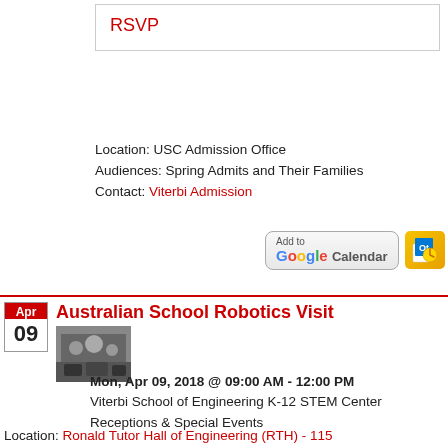RSVP
Location: USC Admission Office
Audiences: Spring Admits and Their Families
Contact: Viterbi Admission
[Figure (other): Add to Google Calendar, Outlook, and iCal buttons]
Australian School Robotics Visit
[Figure (photo): Thumbnail photo of robotics event]
Mon, Apr 09, 2018 @ 09:00 AM - 12:00 PM
Viterbi School of Engineering K-12 STEM Center
Receptions & Special Events
USC Viterbi STEM-EOP staff and student volunteers will host students from Australia's Geelong Grammar school for an exciting half-day Robotics Seminar.
Location: Ronald Tutor Hall of Engineering (RTH) - 115
Audiences: Middle and high school students
Contact: Reza Gur, Viterbi STEM Education Outreach